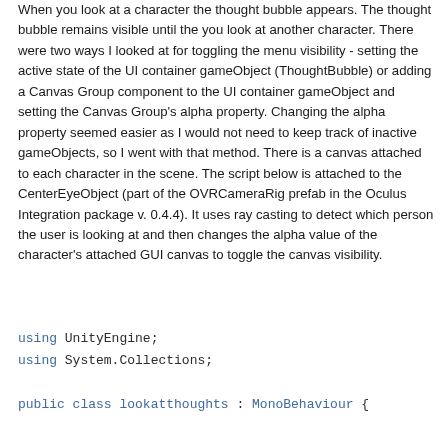When you look at a character the thought bubble appears. The thought bubble remains visible until the you look at another character. There were two ways I looked at for toggling the menu visibility - setting the active state of the UI container gameObject (ThoughtBubble) or adding a Canvas Group component to the UI container gameObject and setting the Canvas Group's alpha property. Changing the alpha property seemed easier as I would not need to keep track of inactive gameObjects, so I went with that method. There is a canvas attached to each character in the scene. The script below is attached to the CenterEyeObject (part of the OVRCameraRig prefab in the Oculus Integration package v. 0.4.4). It uses ray casting to detect which person the user is looking at and then changes the alpha value of the character's attached GUI canvas to toggle the canvas visibility.
using UnityEngine;
using System.Collections;

public class lookatthoughts : MonoBehaviour {